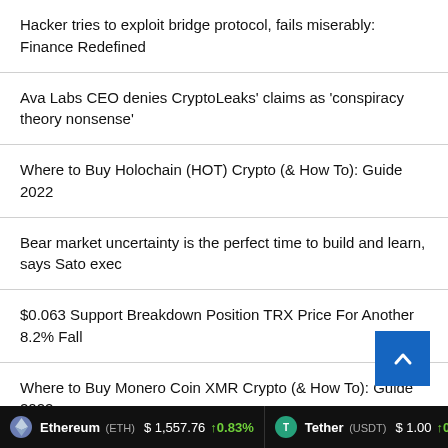Hacker tries to exploit bridge protocol, fails miserably: Finance Redefined
Ava Labs CEO denies CryptoLeaks' claims as 'conspiracy theory nonsense'
Where to Buy Holochain (HOT) Crypto (& How To): Guide 2022
Bear market uncertainty is the perfect time to build and learn, says Sato exec
$0.063 Support Breakdown Position TRX Price For Another 8.2% Fall
Where to Buy Monero Coin XMR Crypto (& How To): Guide 2022
Ethereum (ETH) $1,557.76 ↑0.83%   Tether (USDT) $1.00 ↑0.1